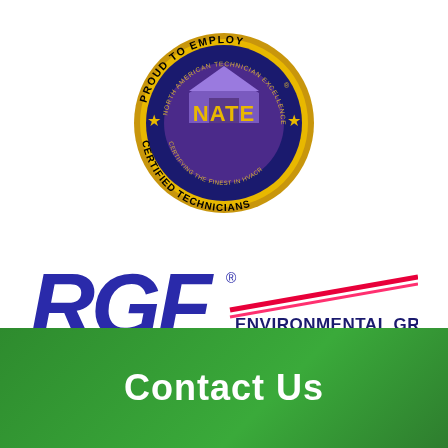[Figure (logo): NATE (North American Technician Excellence) certification badge — circular gold and purple seal reading 'PROUD TO EMPLOY CERTIFIED TECHNICIANS' around the perimeter, with 'NATE' in gold text on a purple background at center, and small gold stars on each side.]
[Figure (logo): RGF Environmental Group, Inc. logo — large blue italic 'RGF' letters with a registered trademark symbol, a diagonal pink/red stripe bar extending to the right, and text 'ENVIRONMENTAL GROUP, INC.' and 'ISO 9001:2015 CERTIFIED COMPANY' to the right.]
Contact Us